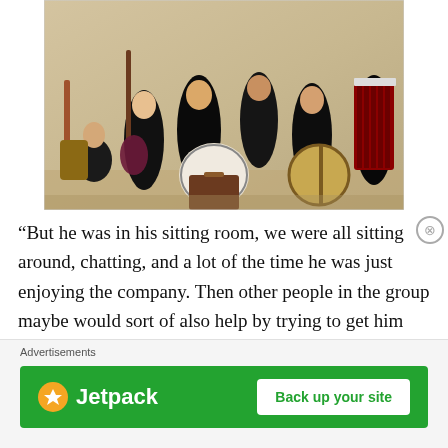[Figure (photo): Group photo of a band with multiple musicians holding instruments including guitars, a bass guitar, a drum, a banjo, and an accordion. All wearing dark clothing.]
“But he was in his sitting room, we were all sitting around, chatting, and a lot of the time he was just enjoying the company. Then other people in the group maybe would sort of also help by trying to get him around to talk about certain things. I found what he was more willing to talk
Advertisements
[Figure (screenshot): Jetpack advertisement banner with green background showing Jetpack logo and 'Back up your site' button]